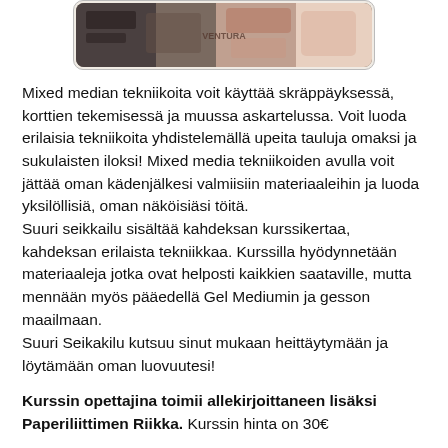[Figure (photo): Mixed media craft artwork image showing collage/scrapbooking materials in a rounded rectangle frame]
Mixed median tekniikoita voit käyttää skräppäyksessä, korttien tekemisessä ja muussa askartelussa. Voit luoda erilaisia tekniikoita yhdistelemällä upeita tauluja omaksi ja sukulaisten iloksi! Mixed media tekniikoiden avulla voit jättää oman kädenjälkesi valmiisiin materiaaleihin ja luoda yksilöllisiä, oman näköisiäsi töitä.
Suuri seikkailu sisältää kahdeksan kurssikertaa, kahdeksan erilaista tekniikkaa. Kurssilla hyödynnetään materiaaleja jotka ovat helposti kaikkien saataville, mutta mennään myös pääedellä Gel Mediumin ja gesson maailmaan.
Suuri Seikakilu kutsuu sinut mukaan heittäytymään ja löytämään oman luovuutesi!
Kurssin opettajina toimii allekirjoittaneen lisäksi Paperiliittimen Riikka. Kurssin hinta on 30€